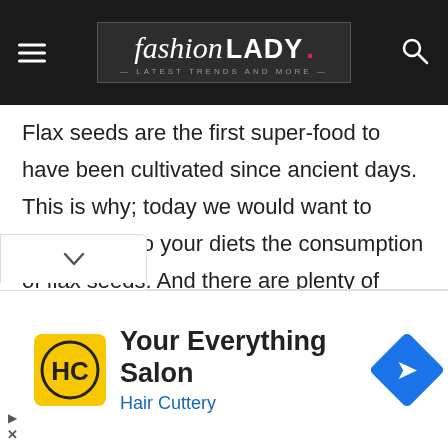fashion LADY. — Latest Trends and More —
Flax seeds are the first super-food to have been cultivated since ancient days. This is why; today we would want to introduce into your diets the consumption of flax seeds. And there are plenty of benefits to gain when consuming flax seeds, for example-
[Figure (screenshot): Advertisement banner for Hair Cuttery salon with yellow HC logo, navigation arrow icon, reading 'Your Everything Salon' and 'Hair Cuttery']